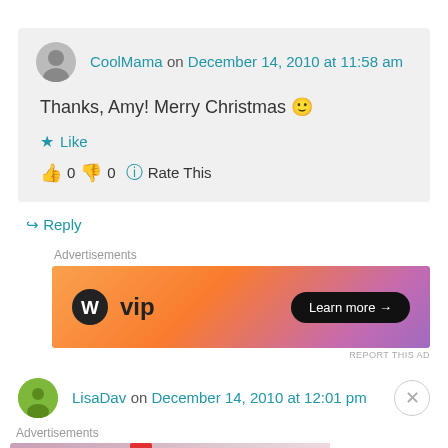CoolMama on December 14, 2010 at 11:58 am
Thanks, Amy! Merry Christmas 🙂
★ Like
👍 0 👎 0 ℹ Rate This
↪ Reply
Advertisements
[Figure (screenshot): WordPress VIP advertisement banner with gradient orange-pink background, WP logo, 'vip' text, and 'Learn more →' button]
REPORT THIS AD
LisaDav on December 14, 2010 at 12:01 pm
Advertisements
[Figure (screenshot): MAC cosmetics advertisement showing lipsticks with SHOP NOW button]